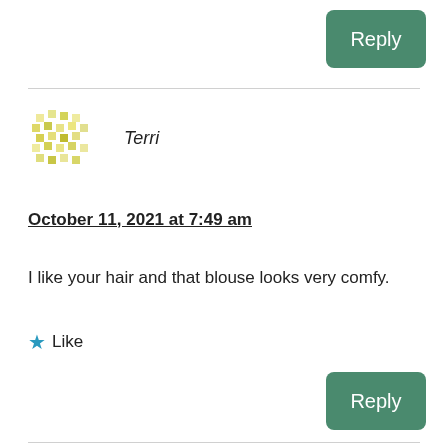Reply
[Figure (illustration): Avatar/gravatar image for user Terri — yellowish pixelated pattern]
Terri
October 11, 2021 at 7:49 am
I like your hair and that blouse looks very comfy.
Like
Reply